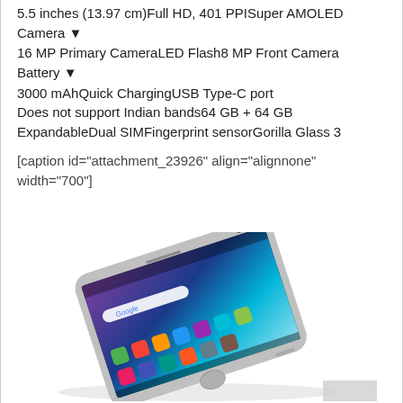5.5 inches (13.97 cm)Full HD, 401 PPISuper AMOLED
Camera ▼
16 MP Primary CameraLED Flash8 MP Front Camera
Battery ▼
3000 mAhQuick ChargingUSB Type-C port
Does not support Indian bands64 GB + 64 GB ExpandableDual SIMFingerprint sensorGorilla Glass 3
[caption id="attachment_23926" align="alignnone" width="700"]
[Figure (photo): Smartphone (likely Lenovo/similar Android phone) shown at an angle, displaying colorful gradient wallpaper and app icons on screen, silver/metal body with home button]